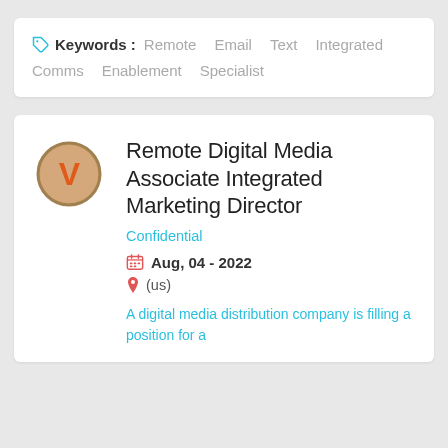Keywords: Remote Email Text Integrated Comms Enablement Specialist
[Figure (logo): Orange V logo in a circle with grey border]
Remote Digital Media Associate Integrated Marketing Director
Confidential
Aug, 04 - 2022
(us)
A digital media distribution company is filling a position for a